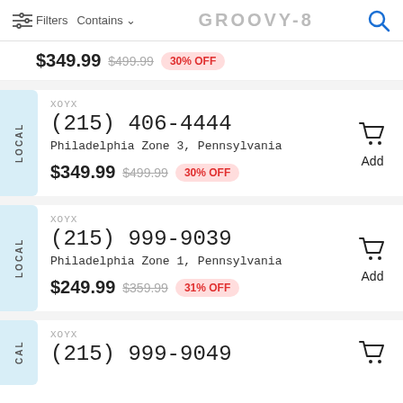Filters  Contains  GROOVY-8
$349.99  $499.99  30% OFF
XOYX
(215) 406-4444
Philadelphia Zone 3, Pennsylvania
$349.99  $499.99  30% OFF
LOCAL
Add
XOYX
(215) 999-9039
Philadelphia Zone 1, Pennsylvania
$249.99  $359.99  31% OFF
LOCAL
Add
XOYX
(215) 999-9049
CAL
Add